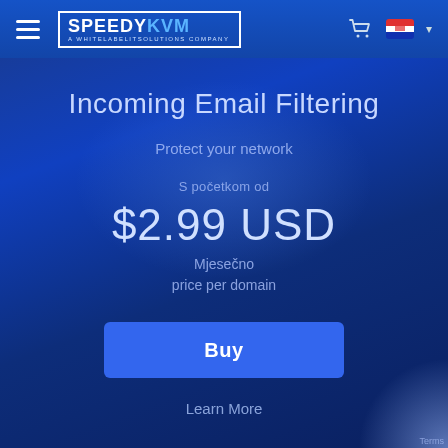SPEEDYKVM A WHITELABELITSOLUTIONS COMPANY
Incoming Email Filtering
Protect your network
S početkom od
$2.99 USD
Mjesečno
price per domain
Buy
Learn More